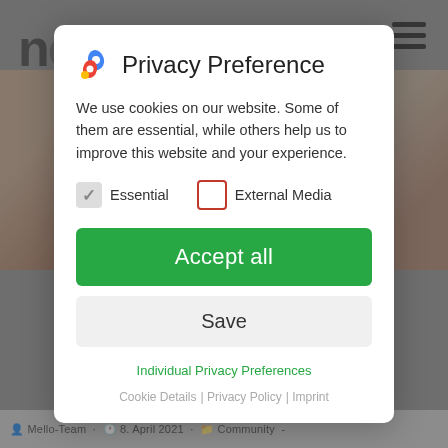[Figure (screenshot): Website background partially visible behind a cookie consent modal dialog. The background shows a website header with partial logo text, hamburger menu icon, and photo images below.]
Privacy Preference
We use cookies on our website. Some of them are essential, while others help us to improve this website and your experience.
Essential (checked)
External Media (unchecked)
Accept all
Save
Individual Privacy Preferences
Cookie Details | Privacy Policy | Imprint
Mello-Team · 8. April 2021 · Community ·